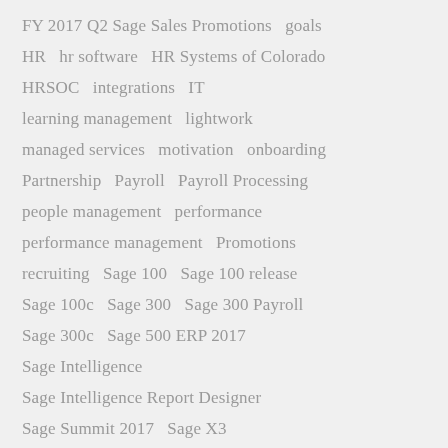FY 2017 Q2 Sage Sales Promotions   goals
HR   hr software   HR Systems of Colorado
HRSOC   integrations   IT
learning management   lightwork
managed services   motivation   onboarding
Partnership   Payroll   Payroll Processing
people management   performance
performance management   Promotions
recruiting   Sage 100   Sage 100 release
Sage 100c   Sage 300   Sage 300 Payroll
Sage 300c   Sage 500 ERP 2017
Sage Intelligence
Sage Intelligence Report Designer
Sage Summit 2017   Sage X3
Sage X3 Version 11   talent management